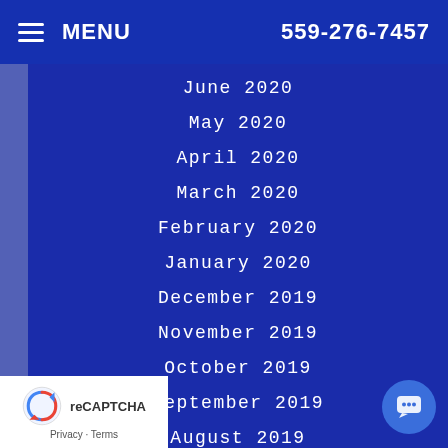MENU  559-276-7457
June 2020
May 2020
April 2020
March 2020
February 2020
January 2020
December 2019
November 2019
October 2019
September 2019
August 2019
July 2019
June 2019
May 2019
April 2019
Privacy · Terms